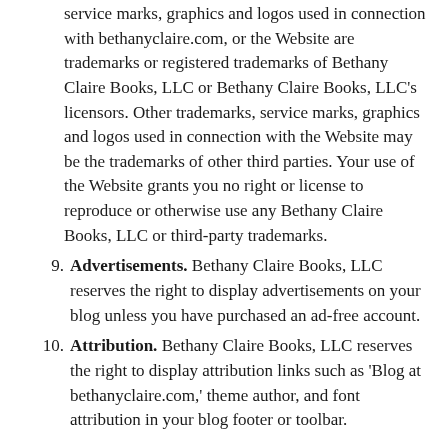service marks, graphics and logos used in connection with bethanyclaire.com, or the Website are trademarks or registered trademarks of Bethany Claire Books, LLC or Bethany Claire Books, LLC's licensors. Other trademarks, service marks, graphics and logos used in connection with the Website may be the trademarks of other third parties. Your use of the Website grants you no right or license to reproduce or otherwise use any Bethany Claire Books, LLC or third-party trademarks.
9. Advertisements. Bethany Claire Books, LLC reserves the right to display advertisements on your blog unless you have purchased an ad-free account.
10. Attribution. Bethany Claire Books, LLC reserves the right to display attribution links such as 'Blog at bethanyclaire.com,' theme author, and font attribution in your blog footer or toolbar.